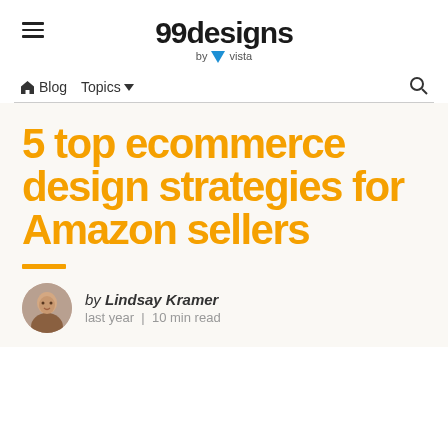99designs by vista
Blog  Topics
5 top ecommerce design strategies for Amazon sellers
by Lindsay Kramer
last year | 10 min read